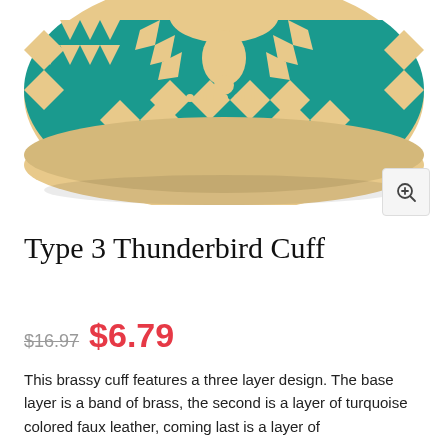[Figure (photo): Close-up photo of a turquoise and gold patterned cuff bracelet with geometric Aztec/Thunderbird design, viewed from above showing the top portion]
Type 3 Thunderbird Cuff
$16.97 $6.79
This brassy cuff features a three layer design. The base layer is a band of brass, the second is a layer of turquoise colored faux leather, coming last is a layer of